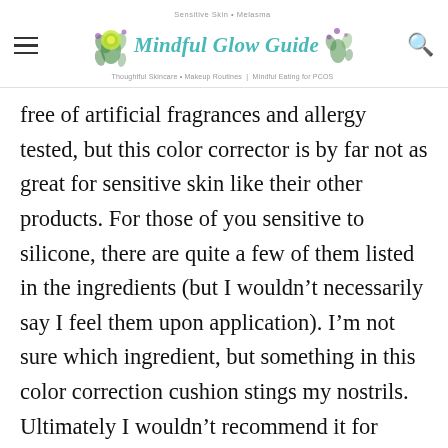Mindful Glow Guide — Sensitive Skin • Melasma | Thoughtful Skincare • Makeup Routines | Mindful Eating for PCOS
free of artificial fragrances and allergy tested, but this color corrector is by far not as great for sensitive skin like their other products. For those of you sensitive to silicone, there are quite a few of them listed in the ingredients (but I wouldn't necessarily say I feel them upon application). I'm not sure which ingredient, but something in this color correction cushion stings my nostrils. Ultimately I wouldn't recommend it for people like me with sensitive skin – I'm still on the lookout for a fragrance free, brightening color corrector. If you don't